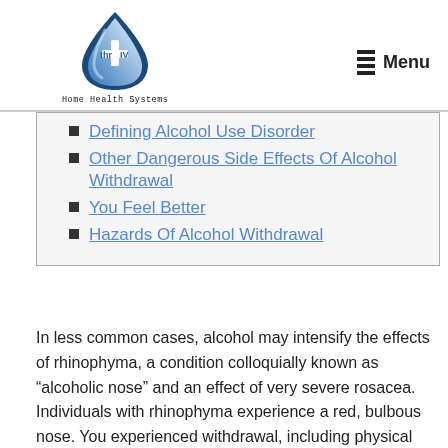[Figure (logo): thrIV Home Health Systems logo — a blue teardrop/water-drop shape with a white cross inside, text 'thrIV' and 'Home Health Systems' below]
Defining Alcohol Use Disorder
Other Dangerous Side Effects Of Alcohol Withdrawal
You Feel Better
Hazards Of Alcohol Withdrawal
In less common cases, alcohol may intensify the effects of rhinophyma, a condition colloquially known as “alcoholic nose” and an effect of very severe rosacea. Individuals with rhinophyma experience a red, bulbous nose. You experienced withdrawal, including physical symptoms. Transitional living when